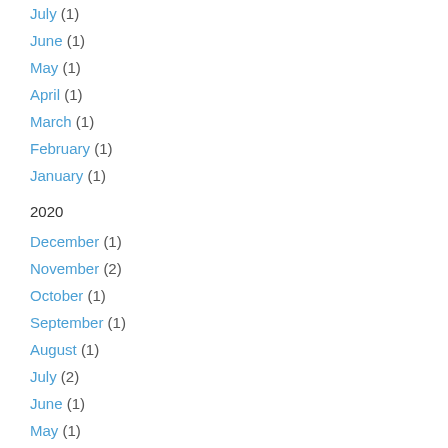July (1)
June (1)
May (1)
April (1)
March (1)
February (1)
January (1)
2020
December (1)
November (2)
October (1)
September (1)
August (1)
July (2)
June (1)
May (1)
April (1)
March (1)
January (2)